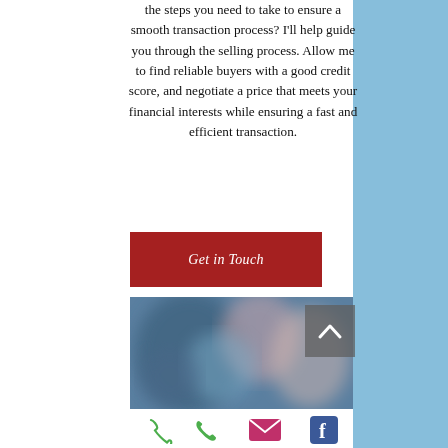the steps you need to take to ensure a smooth transaction process? I'll help guide you through the selling process. Allow me to find reliable buyers with a good credit score, and negotiate a price that meets your financial interests while ensuring a fast and efficient transaction.
[Figure (other): Red 'Get in Touch' button]
[Figure (photo): Blurred photo of people, likely a real estate agent with clients]
[Figure (other): Footer icon bar with phone, email/envelope, and Facebook icons on white background]